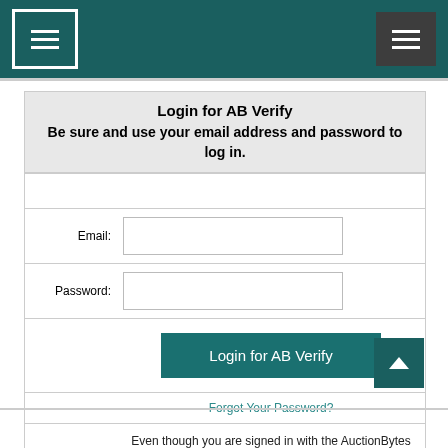[Figure (screenshot): Navigation header bar with dark teal background, two hamburger menu icons: left one with white border outline, right one with dark filled background]
Login for AB Verify
Be sure and use your email address and password to log in.
|  | Email: | [input field] |  |
|  | Password: | [input field] |  |
|  |  | Login for AB Verify button |  |
|  |  | Forgot Your Password? |  |
|  |  | Even though you are signed in with the AuctionBytes Blog, you will have to sign in to the EcommerceBytes blog. But you can sign in with your existing AB Verify info. |  |